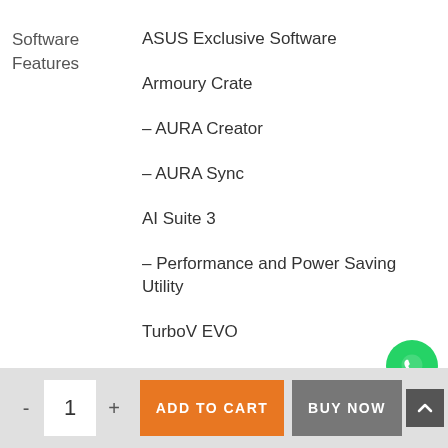Software Features
ASUS Exclusive Software
Armoury Crate
– AURA Creator
– AURA Sync
AI Suite 3
– Performance and Power Saving Utility
TurboV EVO